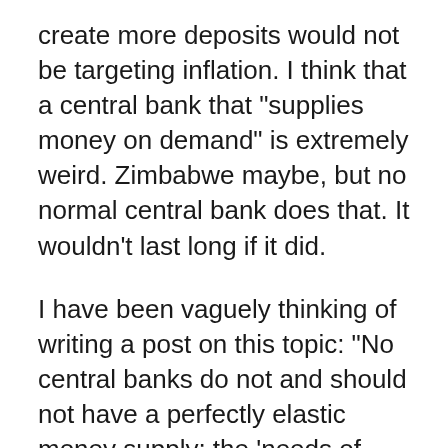create more deposits would not be targeting inflation. I think that a central bank that "supplies money on demand" is extremely weird. Zimbabwe maybe, but no normal central bank does that. It wouldn't last long if it did.
I have been vaguely thinking of writing a post on this topic: "No central banks do not and should not have a perfectly elastic money supply; the 'needs of trade' doctrine is false". It needs to be written. But it would be a boring post for me to write, since there would be nothing new here at all. There...